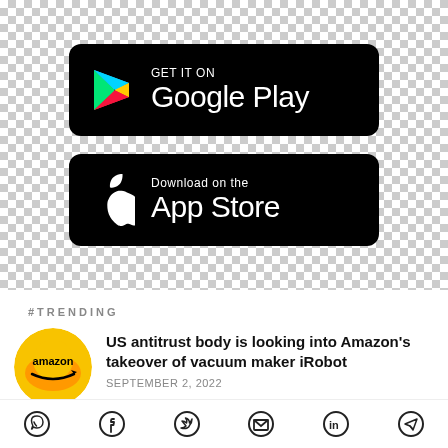[Figure (logo): Google Play store download badge — black rounded rectangle with Google Play triangle logo icon and text 'GET IT ON Google Play' in white]
[Figure (logo): Apple App Store download badge — black rounded rectangle with Apple logo icon and text 'Download on the App Store' in white]
#TRENDING
[Figure (photo): Amazon logo circular thumbnail — gold/yellow circular image with 'amazon' text and arrow]
US antitrust body is looking into Amazon's takeover of vacuum maker iRobot
SEPTEMBER 2, 2022
[Figure (infographic): Social sharing icons row: WhatsApp, Facebook, Twitter, Email, LinkedIn, Telegram]